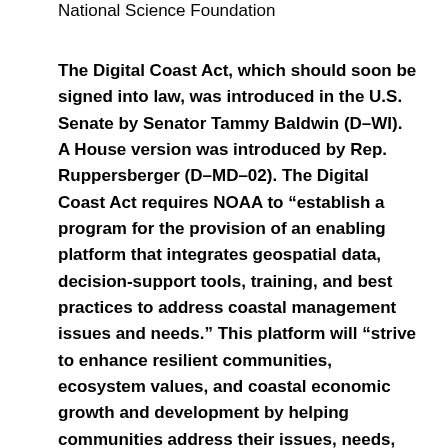National Science Foundation
The Digital Coast Act, which should soon be signed into law, was introduced in the U.S. Senate by Senator Tammy Baldwin (D–WI). A House version was introduced by Rep. Ruppersberger (D–MD–02). The Digital Coast Act requires NOAA to “establish a program for the provision of an enabling platform that integrates geospatial data, decision-support tools, training, and best practices to address coastal management issues and needs.” This platform will “strive to enhance resilient communities, ecosystem values, and coastal economic growth and development by helping communities address their issues, needs, and challenges